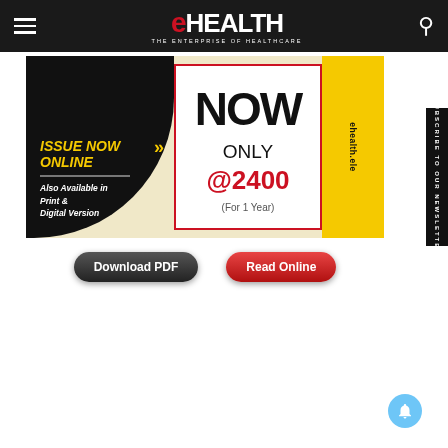eHEALTH — THE ENTERPRISE OF HEALTHCARE
[Figure (infographic): eHealth magazine subscription banner advertisement showing 'ISSUE NOW ONLINE', available in Print & Digital Version, with subscription price ONLY @2400 (For 1 Year), Download PDF and Read Online buttons, yellow strip on right with ehealth.ele text]
SUBSCRIBE TO OUR NEWSLETTER